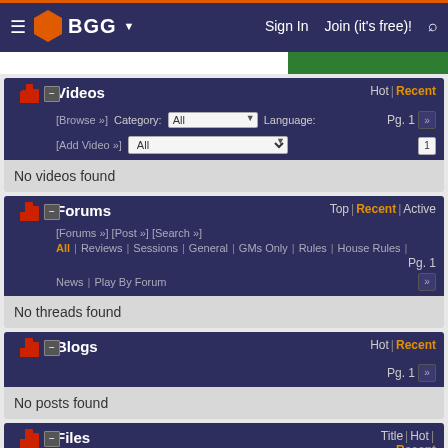BGG — Sign In | Join (it's free)!
Videos — Hot | Recent — Category: All — Language: All — Pg. 1
No videos found
Forums — Top | Recent | Active — [Forums] [Post] [Search] — All | Reviews | Sessions | General | GMs Only | Rules | House Rules | News | Play By Forum — Pg. 1
No threads found
Blogs — Hot | Recent — Pg. 1
No posts found
Files — Title | Hot | Recent — [Browse] [Upload File] — Language: All — Pg. 1 of 1